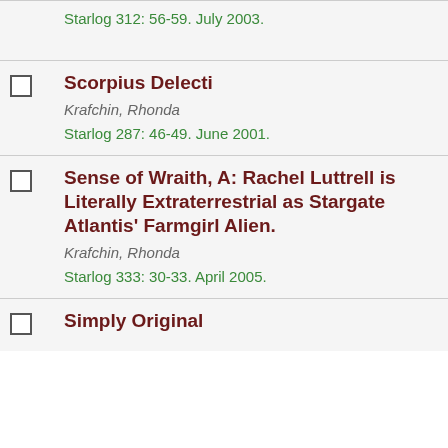Starlog 312: 56-59. July 2003.
Scorpius Delecti
Krafchin, Rhonda
Starlog 287: 46-49. June 2001.
Sense of Wraith, A: Rachel Luttrell is Literally Extraterrestrial as Stargate Atlantis' Farmgirl Alien.
Krafchin, Rhonda
Starlog 333: 30-33. April 2005.
Simply Original